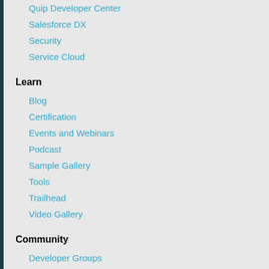Quip Developer Center
Salesforce DX
Security
Service Cloud
Learn
Blog
Certification
Events and Webinars
Podcast
Sample Gallery
Tools
Trailhead
Video Gallery
Community
Developer Groups
Forums
Partners